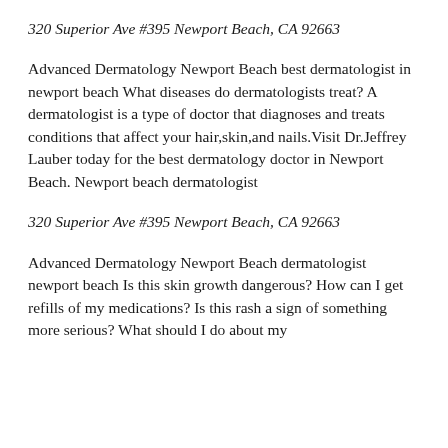320 Superior Ave #395 Newport Beach, CA 92663
Advanced Dermatology Newport Beach best dermatologist in newport beach What diseases do dermatologists treat? A dermatologist is a type of doctor that diagnoses and treats conditions that affect your hair,skin,and nails.Visit Dr.Jeffrey Lauber today for the best dermatology doctor in Newport Beach. Newport beach dermatologist
320 Superior Ave #395 Newport Beach, CA 92663
Advanced Dermatology Newport Beach dermatologist newport beach Is this skin growth dangerous? How can I get refills of my medications? Is this rash a sign of something more serious? What should I do about my